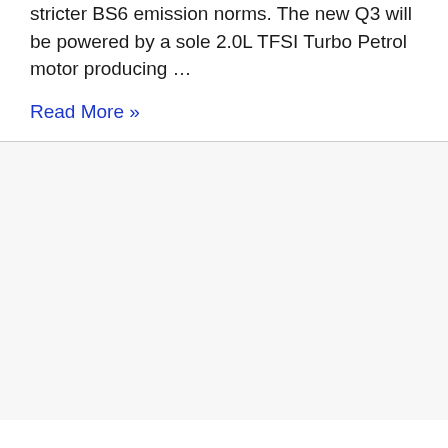stricter BS6 emission norms. The new Q3 will be powered by a sole 2.0L TFSI Turbo Petrol motor producing …
Read More »